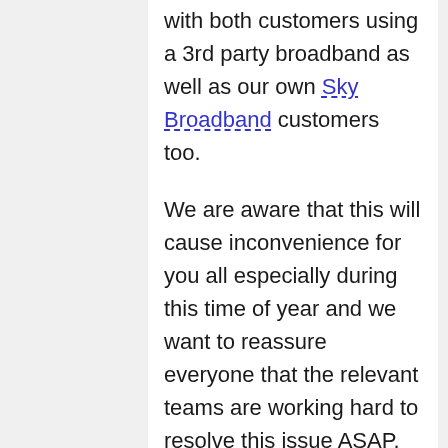with both customers using a 3rd party broadband as well as our own Sky Broadband customers too.
We are aware that this will cause inconvenience for you all especially during this time of year and we want to reassure everyone that the relevant teams are working hard to resolve this issue ASAP.
In the meantime we are asking not to change DNS settings and as a temporary solution download your content to your box via the Sky Go app.
I have reached out to some users on this